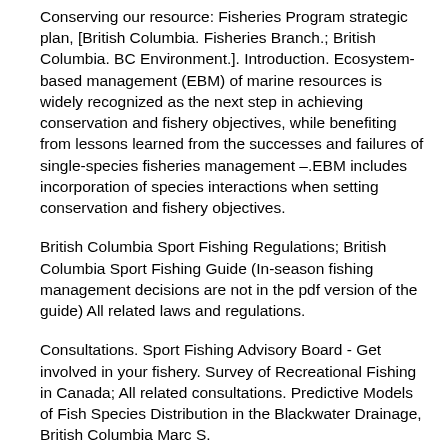Conserving our resource: Fisheries Program strategic plan, [British Columbia. Fisheries Branch.; British Columbia. BC Environment.]. Introduction. Ecosystem-based management (EBM) of marine resources is widely recognized as the next step in achieving conservation and fishery objectives, while benefiting from lessons learned from the successes and failures of single-species fisheries management –.EBM includes incorporation of species interactions when setting conservation and fishery objectives.
British Columbia Sport Fishing Regulations; British Columbia Sport Fishing Guide (In-season fishing management decisions are not in the pdf version of the guide) All related laws and regulations.
Consultations. Sport Fishing Advisory Board - Get involved in your fishery. Survey of Recreational Fishing in Canada; All related consultations. Predictive Models of Fish Species Distribution in the Blackwater Drainage, British Columbia Marc S.
Porter British Columbia Ministry of Fisheries, Research and Development Section Main Mall...